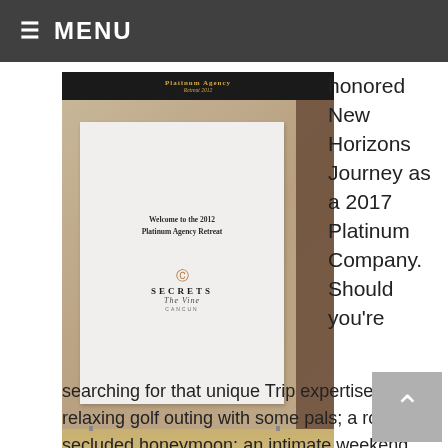≡ MENU
[Figure (photo): Photo of a banner/sign reading 'Welcome to the 2012 Platinum Agency Retreat' with Secrets The Vine Cancun logo, standing in a hallway with stone walls and wood flooring.]
honored New Horizons Journey as a 2017 Platinum Company. Should you're searching for that unique Trip expertise; a relaxing golf outing with some pals; a romantic, secluded honeymoon; an intimate weekend getaway; an indulgent spa experience or a as soon as in a lifetime household reunion, Apple has what you're in search of with their new